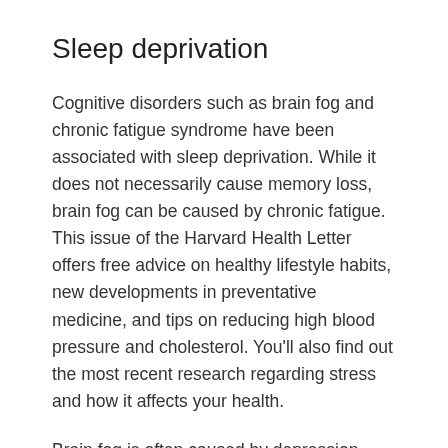Sleep deprivation
Cognitive disorders such as brain fog and chronic fatigue syndrome have been associated with sleep deprivation. While it does not necessarily cause memory loss, brain fog can be caused by chronic fatigue. This issue of the Harvard Health Letter offers free advice on healthy lifestyle habits, new developments in preventative medicine, and tips on reducing high blood pressure and cholesterol. You’ll also find out the most recent research regarding stress and how it affects your health.
Brain fog is often caused by depression. Treatment for this condition usually includes prescribed medication as well as various